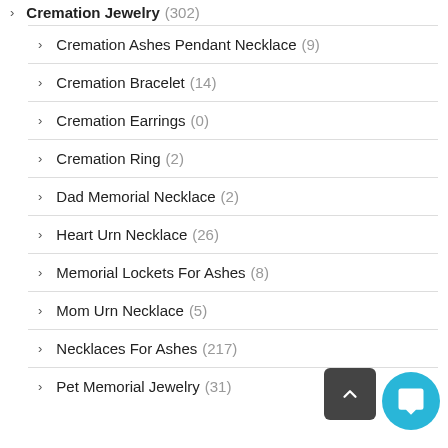Cremation Jewelry (302)
Cremation Ashes Pendant Necklace (9)
Cremation Bracelet (14)
Cremation Earrings (0)
Cremation Ring (2)
Dad Memorial Necklace (2)
Heart Urn Necklace (26)
Memorial Lockets For Ashes (8)
Mom Urn Necklace (5)
Necklaces For Ashes (217)
Pet Memorial Jewelry (31)